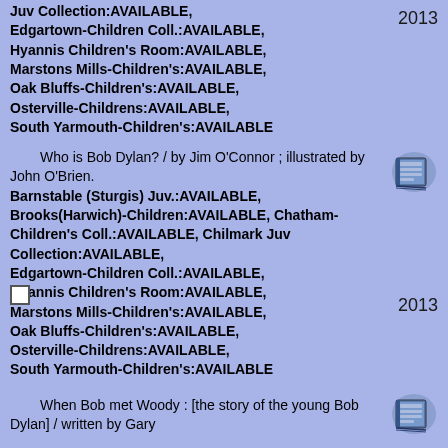Juv Collection:AVAILABLE, Edgartown-Children Coll.:AVAILABLE, Hyannis Children's Room:AVAILABLE, Marstons Mills-Children's:AVAILABLE, Oak Bluffs-Children's:AVAILABLE, Osterville-Childrens:AVAILABLE, South Yarmouth-Children's:AVAILABLE
2013
Who is Bob Dylan? / by Jim O'Connor ; illustrated by John O'Brien. Barnstable (Sturgis) Juv.:AVAILABLE, Brooks(Harwich)-Children:AVAILABLE, Chatham-Children's Coll.:AVAILABLE, Chilmark Juv Collection:AVAILABLE, Edgartown-Children Coll.:AVAILABLE, Hyannis Children's Room:AVAILABLE, Marstons Mills-Children's:AVAILABLE, Oak Bluffs-Children's:AVAILABLE, Osterville-Childrens:AVAILABLE, South Yarmouth-Children's:AVAILABLE
[Figure (illustration): Book icon illustration]
2013
When Bob met Woody : [the story of the young Bob Dylan] / written by Gary...
[Figure (illustration): Book icon illustration]